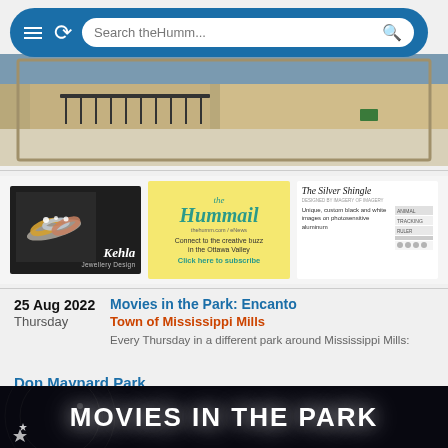Search theHumm...
[Figure (photo): Hero image of a street scene with stone buildings, railings, and a sidewalk]
[Figure (photo): Kehla Jewellery Design advertisement showing rings on a white surface]
[Figure (photo): The Hummail advertisement: Connect to the creative buzz in the Ottawa Valley - Click here to subscribe]
[Figure (photo): The Silver Shingle advertisement: Unique, custom black and white images on photosensitive aluminum]
25 Aug 2022
Thursday
Movies in the Park: Encanto
Town of Mississippi Mills
Every Thursday in a different park around Mississippi Mills:
Don Maynard Park
[Figure (photo): Movies in the Park promotional banner - dark background with glowing white text reading MOVIES IN THE PARK]